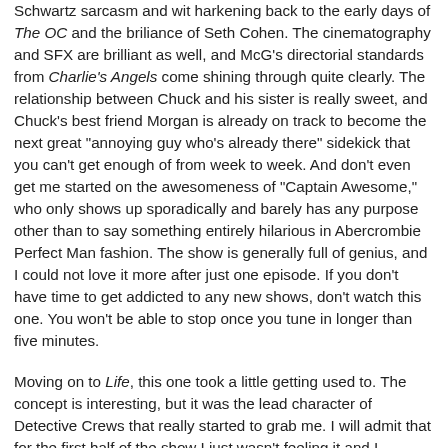Schwartz sarcasm and wit harkening back to the early days of The OC and the briliance of Seth Cohen. The cinematography and SFX are brilliant as well, and McG's directorial standards from Charlie's Angels come shining through quite clearly. The relationship between Chuck and his sister is really sweet, and Chuck's best friend Morgan is already on track to become the next great "annoying guy who's already there" sidekick that you can't get enough of from week to week. And don't even get me started on the awesomeness of "Captain Awesome," who only shows up sporadically and barely has any purpose other than to say something entirely hilarious in Abercrombie Perfect Man fashion. The show is generally full of genius, and I could not love it more after just one episode. If you don't have time to get addicted to any new shows, don't watch this one. You won't be able to stop once you tune in longer than five minutes.
Moving on to Life, this one took a little getting used to. The concept is interesting, but it was the lead character of Detective Crews that really started to grab me. I will admit that for the first half of the show I just wasn't feeling it and I